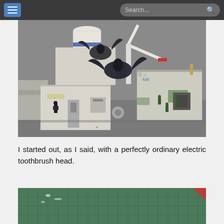Navigation bar with menu button and search field
[Figure (photo): Miniature wargaming terrain scene showing white weathered buildings/structures with sci-fi miniature figures including dark winged creatures on top, soldiers on the ground, a wind turbine element, and a separate weathered container structure, set against a grey background]
I started out, as I said, with a perfectly ordinary electric toothbrush head.
[Figure (photo): Green cutting mat with grid lines and small objects visible, partially cut off at bottom]